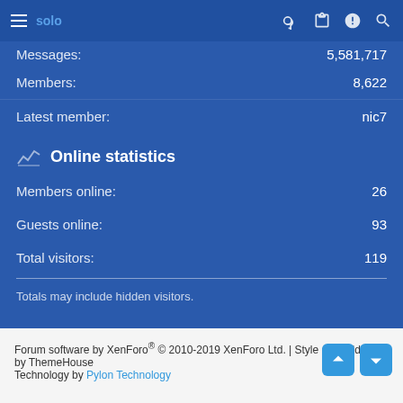solo (logo) | icons: key, clipboard, alert, search
Messages: 5,581,717
Members: 8,622
Latest member: nic7
Online statistics
Members online: 26
Guests online: 93
Total visitors: 119
Totals may include hidden visitors.
Contact us  Terms and rules  Privacy policy  Help  Home
Forum software by XenForo® © 2010-2019 XenForo Ltd. | Style and add-ons by ThemeHouse
Technology by Pylon Technology